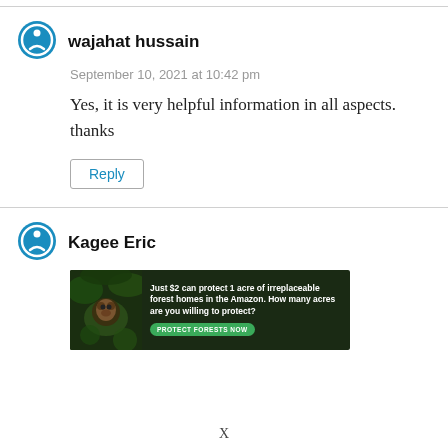wajahat hussain
September 10, 2021 at 10:42 pm
Yes, it is very helpful information in all aspects. thanks
Reply
Kagee Eric
[Figure (other): Advertisement banner: Just $2 can protect 1 acre of irreplaceable forest homes in the Amazon. How many acres are you willing to protect? PROTECT FORESTS NOW]
X